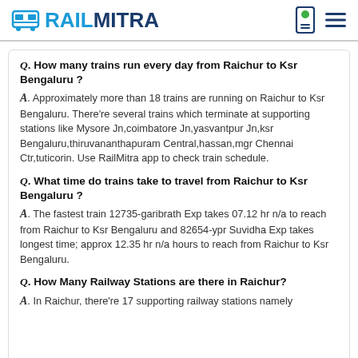RAILMITRA
Q. How many trains run every day from Raichur to Ksr Bengaluru ?
A. Approximately more than 18 trains are running on Raichur to Ksr Bengaluru. There’re several trains which terminate at supporting stations like Mysore Jn,coimbatore Jn,yasvantpur Jn,ksr Bengaluru,thiruvananthapuram Central,hassan,mgr Chennai Ctr,tuticorin. Use RailMitra app to check train schedule.
Q. What time do trains take to travel from Raichur to Ksr Bengaluru ?
A. The fastest train 12735-garibrath Exp takes 07.12 hr n/a to reach from Raichur to Ksr Bengaluru and 82654-ypr Suvidha Exp takes longest time; approx 12.35 hr n/a hours to reach from Raichur to Ksr Bengaluru.
Q. How Many Railway Stations are there in Raichur?
A. In Raichur, there’re 17 supporting railway stations namely